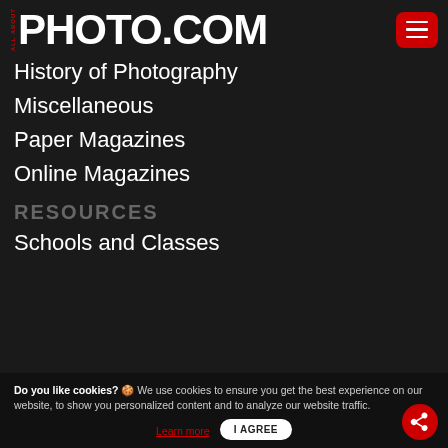ALL ABOUT PHOTO.COM
History of Photography
Miscellaneous
Paper Magazines
Online Magazines
RESOURCES
Schools and Classes
Do you like cookies? 🍪 We use cookies to ensure you get the best experience on our website, to show you personalized content and to analyze our website traffic.
Learn more | I AGREE